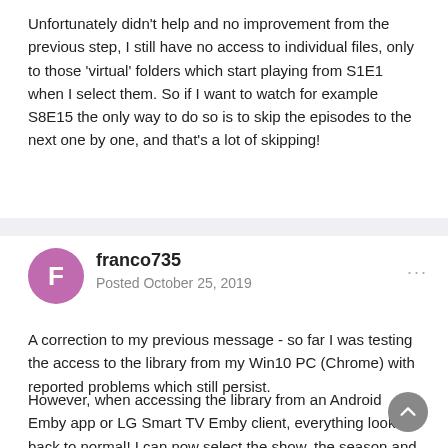Unfortunately didn't help and no improvement from the previous step, I still have no access to individual files, only to those 'virtual' folders which start playing from S1E1 when I select them. So if I want to watch for example S8E15 the only way to do so is to skip the episodes to the next one by one, and that's a lot of skipping!
franco735
Posted October 25, 2019
A correction to my previous message - so far I was testing the access to the library from my Win10 PC (Chrome) with reported problems which still persist.
However, when accessing the library from an Android Emby app or LG Smart TV Emby client, everything looks back to normal! I can now select the show, the season and the episode.